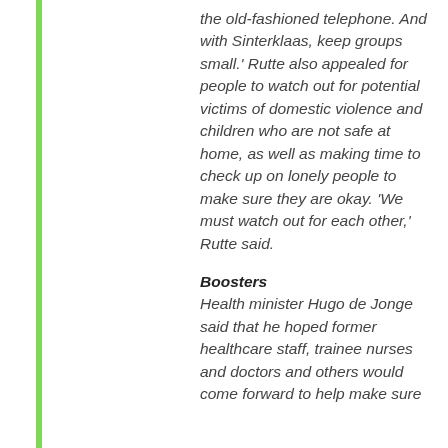the old-fashioned telephone. And with Sinterklaas, keep groups small.' Rutte also appealed for people to watch out for potential victims of domestic violence and children who are not safe at home, as well as making time to check up on lonely people to make sure they are okay. 'We must watch out for each other,' Rutte said.
Boosters
Health minister Hugo de Jonge said that he hoped former healthcare staff, trainee nurses and doctors and others would come forward to help make sure